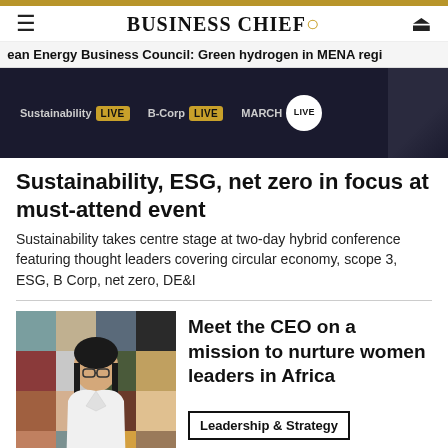BUSINESS CHIEF.
ean Energy Business Council: Green hydrogen in MENA regi
[Figure (photo): Event banner showing Sustainability LIVE, B-Corp LIVE, and MARCH LIVE badges on dark background]
Sustainability, ESG, net zero in focus at must-attend event
Sustainability takes centre stage at two-day hybrid conference featuring thought leaders covering circular economy, scope 3, ESG, B Corp, net zero, DE&I
[Figure (photo): Woman in white blazer and glasses smiling, standing in front of colorful geometric background]
Meet the CEO on a mission to nurture women leaders in Africa
Leadership & Strategy